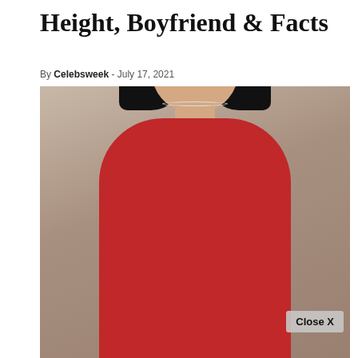Height, Boyfriend & Facts
By Celebsweek - July 17, 2021
[Figure (photo): Young woman with straight black bob hair, red lips, wearing a red ribbed turtleneck top and a delicate necklace, posing against a beige/tan background. A 'Close X' button overlay appears in the lower right of the image.]